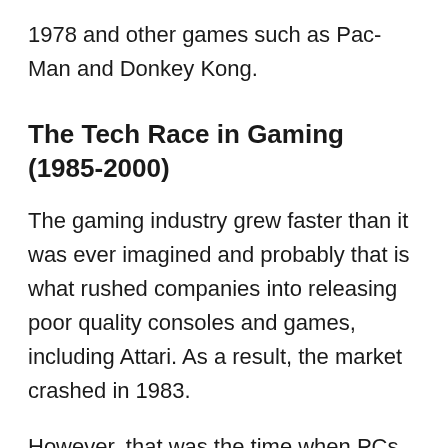1978 and other games such as Pac-Man and Donkey Kong.
The Tech Race in Gaming (1985-2000)
The gaming industry grew faster than it was ever imagined and probably that is what rushed companies into releasing poor quality consoles and games, including Attari. As a result, the market crashed in 1983.
However, that was the time when PCs were becoming a reality and were much better and powerful than consoles. They allowed programmers